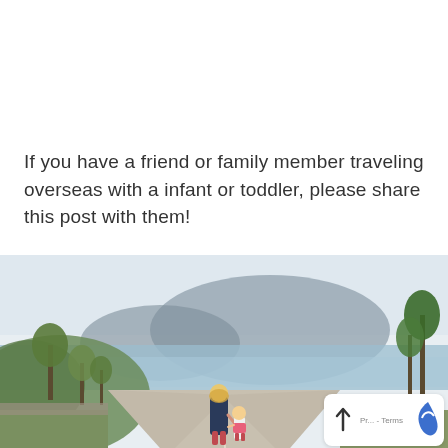If you have a friend or family member traveling overseas with a infant or toddler, please share this post with them!
[Figure (photo): A mother and toddler walking hand-in-hand along a road overlooking a bay with mountains and tropical trees in the background]